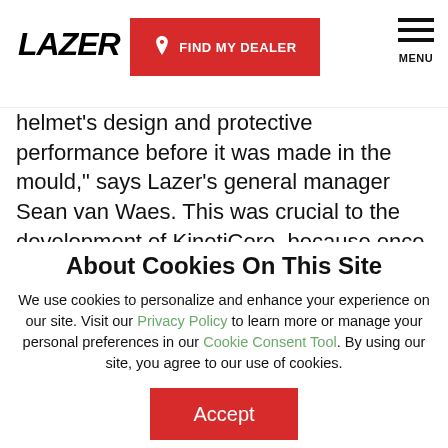LAZER | FIND MY DEALER | MENU
helmet's design and protective performance before it was made in the mould," says Lazer's general manager Sean van Waes. This was crucial to the development of KinetiCore, because once the helmet's in the mould then the product is essentially finished, so changing it takes...
About Cookies On This Site
We use cookies to personalize and enhance your experience on our site. Visit our Privacy Policy to learn more or manage your personal preferences in our Cookie Consent Tool. By using our site, you agree to our use of cookies.
Accept
Options